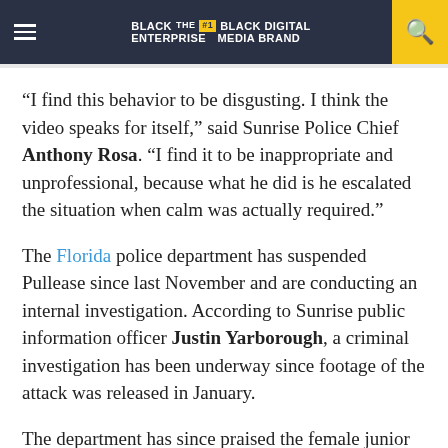BLACK ENTERPRISE THE #1 BLACK DIGITAL MEDIA BRAND
“I find this behavior to be disgusting. I think the video speaks for itself,” said Sunrise Police Chief Anthony Rosa. “I find it to be inappropriate and unprofessional, because what he did is he escalated the situation when calm was actually required.”
The Florida police department has suspended Pullease since last November and are conducting an internal investigation. According to Sunrise public information officer Justin Yarborough, a criminal investigation has been underway since footage of the attack was released in January.
The department has since praised the female junior officer for stepping in, however Pullease’s